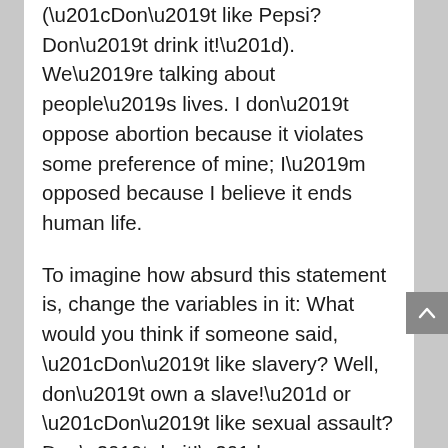(“Don’t like Pepsi? Don’t drink it!”). We’re talking about people’s lives. I don’t oppose abortion because it violates some preference of mine; I’m opposed because I believe it ends human life.
To imagine how absurd this statement is, change the variables in it: What would you think if someone said, “Don’t like slavery? Well, don’t own a slave!” or “Don’t like sexual assault? Don’t do it!”
E. I’m personally opposed to abortion, but I don’t think we should overturn Roe v. Wade.
The question to ask here is: Why are you